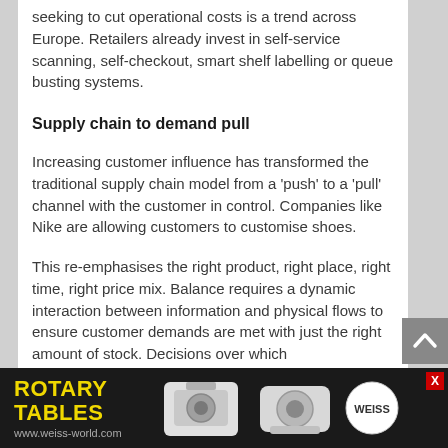seeking to cut operational costs is a trend across Europe. Retailers already invest in self-service scanning, self-checkout, smart shelf labelling or queue busting systems.
Supply chain to demand pull
Increasing customer influence has transformed the traditional supply chain model from a 'push' to a 'pull' channel with the customer in control. Companies like Nike are allowing customers to customise shoes.
This re-emphasises the right product, right place, right time, right price mix. Balance requires a dynamic interaction between information and physical flows to ensure customer demands are met with just the right amount of stock. Decisions over which
[Figure (infographic): Advertisement banner for Weiss Rotary Tables showing product images of rotary table devices on dark background with yellow title text, website URL, Weiss logo, and a red X close button.]